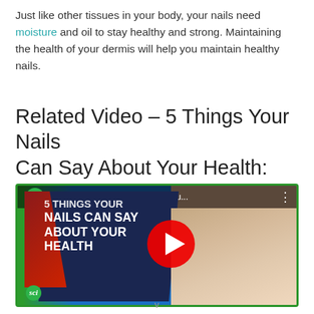Just like other tissues in your body, your nails need moisture and oil to stay healthy and strong. Maintaining the health of your dermis will help you maintain healthy nails.
Related Video – 5 Things Your Nails Can Say About Your Health:
[Figure (screenshot): YouTube video thumbnail for '5 Things Your Nails Can Say About Your Health' by SciShow, showing bold white text on dark blue background with a red play button overlay, and a close-up of a fingernail on the right side.]
v